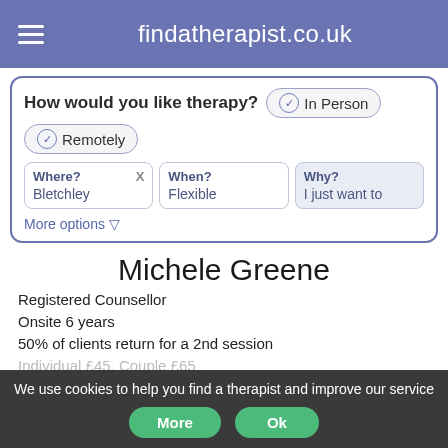findatherapist.co.uk
How would you like therapy?
✓ In Person
✓ Remotely
Where? X
Bletchley
When?
Flexible
Why?
I just want to
More options ▽
Michele Greene
Registered Counsellor
Onsite 6 years
50% of clients return for a 2nd session
Individual £45, Couple £65
We use cookies to help you find a therapist and improve our service